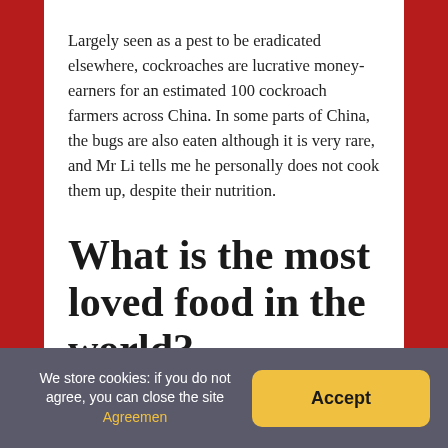Largely seen as a pest to be eradicated elsewhere, cockroaches are lucrative money-earners for an estimated 100 cockroach farmers across China. In some parts of China, the bugs are also eaten although it is very rare, and Mr Li tells me he personally does not cook them up, despite their nutrition.
What is the most loved food in the world?
In a survey of 24 countries, pizza and pasta take the top spot – closely followed by Chinese and Japanese cuisine. An international YouGov study
We store cookies: if you do not agree, you can close the site Agreemen